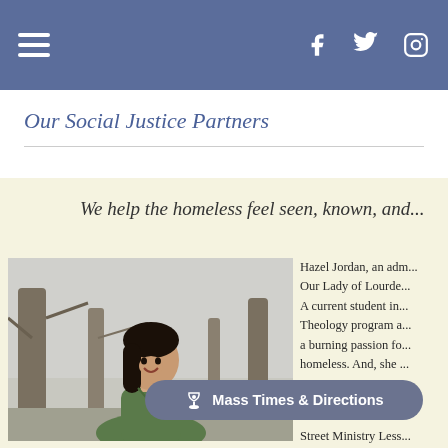Navigation bar with hamburger menu and social icons (Facebook, Twitter, Instagram)
Our Social Justice Partners
We help the homeless feel seen, known, and...
[Figure (photo): Young woman with dark hair, smiling, wearing a green blouse, standing outdoors among bare trees]
Hazel Jordan, an adm... Our Lady of Lourde... A current student in... Theology program a... a burning passion fo... homeless. And, she ...
Mass Times & Directions
Street Ministry Less...